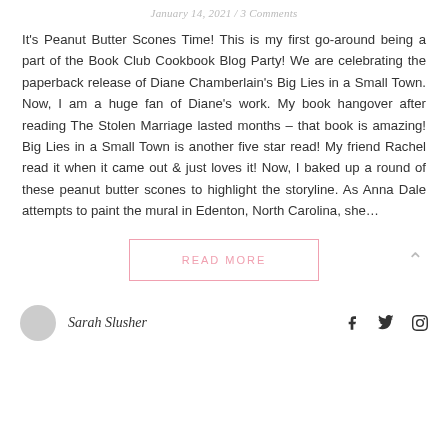January 14, 2021 / 3 Comments
It's Peanut Butter Scones Time! This is my first go-around being a part of the Book Club Cookbook Blog Party! We are celebrating the paperback release of Diane Chamberlain's Big Lies in a Small Town. Now, I am a huge fan of Diane's work. My book hangover after reading The Stolen Marriage lasted months – that book is amazing! Big Lies in a Small Town is another five star read! My friend Rachel read it when it came out & just loves it! Now, I baked up a round of these peanut butter scones to highlight the storyline. As Anna Dale attempts to paint the mural in Edenton, North Carolina, she...
READ MORE
Sarah Slusher